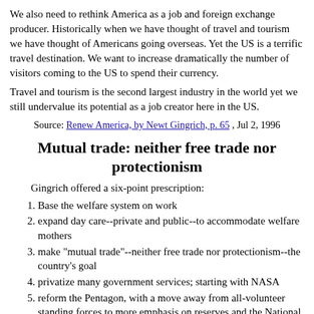We also need to rethink America as a job and foreign exchange producer. Historically when we have thought of travel and tourism we have thought of Americans going overseas. Yet the US is a terrific travel destination. We want to increase dramatically the number of visitors coming to the US to spend their currency.
Travel and tourism is the second largest industry in the world yet we still undervalue its potential as a job creator here in the US.
Source: Renew America, by Newt Gingrich, p. 65 , Jul 2, 1996
Mutual trade: neither free trade nor protectionism
Gingrich offered a six-point prescription:
Base the welfare system on work
expand day care--private and public--to accommodate welfare mothers
make "mutual trade"--neither free trade nor protectionism--the country's goal
privatize many government services; starting with NASA
reform the Pentagon, with a move away from all-volunteer standing forces to more emphasis on reserves and the National Guard; and
curb cost-of-living increases in social programs such as Social Security.
Source: Newt!, by Dick Williams, p.108 , Jun 1, 1995
Compete in world market because we can't retreat from it
We need to create local jobs here through sales worldwide. So we have to be productive enough, creative enough, interesting enough